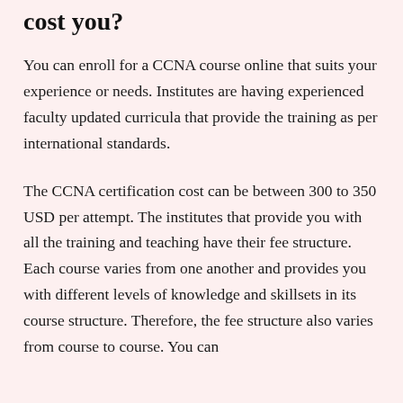cost you?
You can enroll for a CCNA course online that suits your experience or needs. Institutes are having experienced faculty updated curricula that provide the training as per international standards.
The CCNA certification cost can be between 300 to 350 USD per attempt. The institutes that provide you with all the training and teaching have their fee structure. Each course varies from one another and provides you with different levels of knowledge and skillsets in its course structure. Therefore, the fee structure also varies from course to course. You can